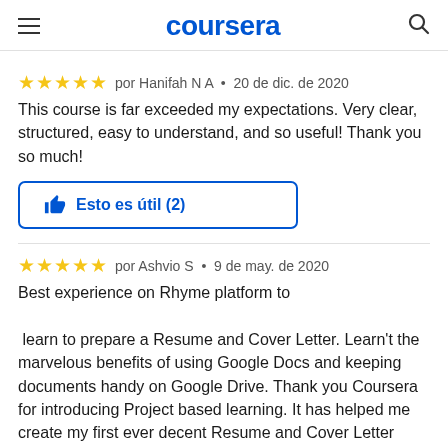coursera
⭐⭐⭐⭐⭐ por Hanifah N A • 20 de dic. de 2020
This course is far exceeded my expectations. Very clear, structured, easy to understand, and so useful! Thank you so much!
[Figure (other): Button labeled 'Esto es útil (2)' with a thumbs-up icon, outlined in blue]
⭐⭐⭐⭐⭐ por Ashvio S • 9 de may. de 2020
Best experience on Rhyme platform to

 learn to prepare a Resume and Cover Letter. Learn't the marvelous benefits of using Google Docs and keeping documents handy on Google Drive. Thank you Coursera for introducing Project based learning. It has helped me create my first ever decent Resume and Cover Letter comfortably. Strong recommendation for those wanting to hone their